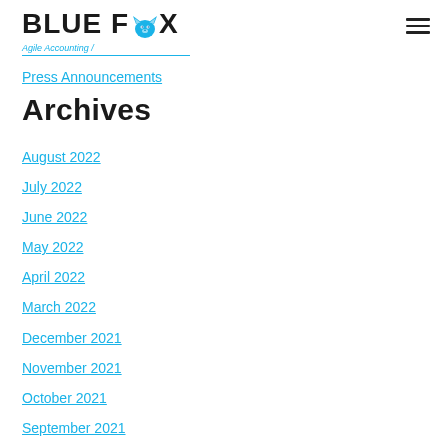[Figure (logo): Blue Fox Agile Accounting logo with fox icon and blue/black text]
Press Announcements
Archives
August 2022
July 2022
June 2022
May 2022
April 2022
March 2022
December 2021
November 2021
October 2021
September 2021
August 2021
July 2021
June 2021
May 2021